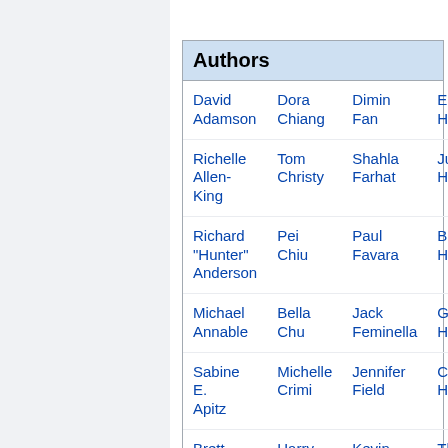| Authors |
| --- |
| David Adamson | Dora Chiang | Dimin Fan | Elisab Hawle |
| Richelle Allen-King | Tom Christy | Shahla Farhat | Julie A Heath |
| Richard "Hunter" Anderson | Pei Chiu | Paul Favara | Brian Helms |
| Michael Annable | Bella Chu | Jack Feminella | Gorm Heron |
| Sabine E. Apitz | Michelle Crimi | Jennifer Field | Christ Higgin |
| Brett Baldwin | Harry Craig | Kevin Finneran | Thoma Holse |
| Amanda | Phil de | Jeff | Brian |